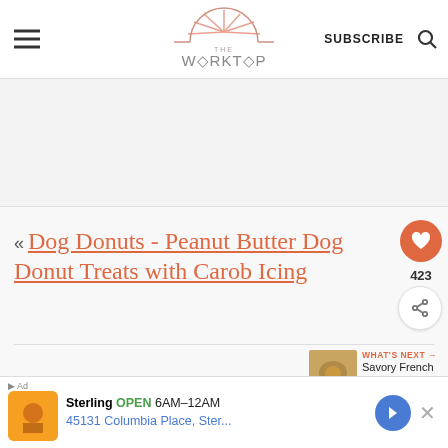THE WORKTOP | SUBSCRIBE
[Figure (logo): The Worktop logo with sun/rays illustration above stylized text 'THE WORKTOP']
« Dog Donuts - Peanut Butter Dog Donut Treats with Carob Icing
423
WHAT'S NEXT → Savory French Toast
Whipped Yogurt Light As A Cloud
Sterling OPEN 6AM–12AM 45131 Columbia Place, Ster...